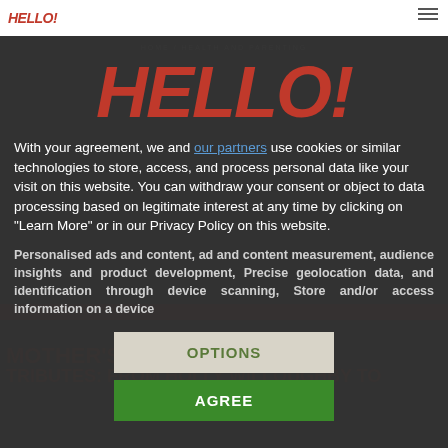HELLO! (top navigation bar logo)
[Figure (screenshot): Hello! magazine website screenshot showing a dark article page with red headline text partially visible behind a cookie consent modal overlay. The background shows a breadcrumb navigation 'HOME / HEALTH AND PARENTING' and a red article headline about Mother's Day tributes from Holly Willoughby.]
HELLO!
With your agreement, we and our partners use cookies or similar technologies to store, access, and process personal data like your visit on this website. You can withdraw your consent or object to data processing based on legitimate interest at any time by clicking on "Learn More" or in our Privacy Policy on this website.
Personalised ads and content, ad and content measurement, audience insights and product development, Precise geolocation data, and identification through device scanning, Store and/or access information on a device
OPTIONS
AGREE